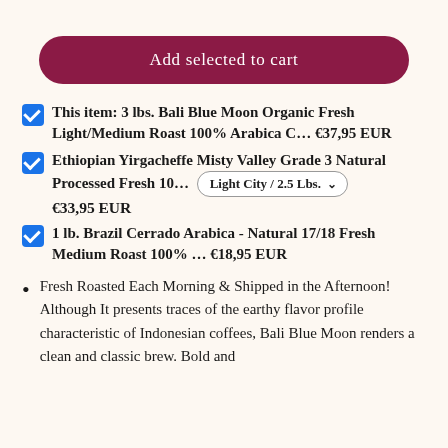Add selected to cart
This item: 3 lbs. Bali Blue Moon Organic Fresh Light/Medium Roast 100% Arabica C… €37,95 EUR
Ethiopian Yirgacheffe Misty Valley Grade 3 Natural Processed Fresh 10… Light City / 2.5 Lbs. €33,95 EUR
1 lb. Brazil Cerrado Arabica - Natural 17/18 Fresh Medium Roast 100% … €18,95 EUR
Fresh Roasted Each Morning & Shipped in the Afternoon! Although It presents traces of the earthy flavor profile characteristic of Indonesian coffees, Bali Blue Moon renders a clean and classic brew. Bold and